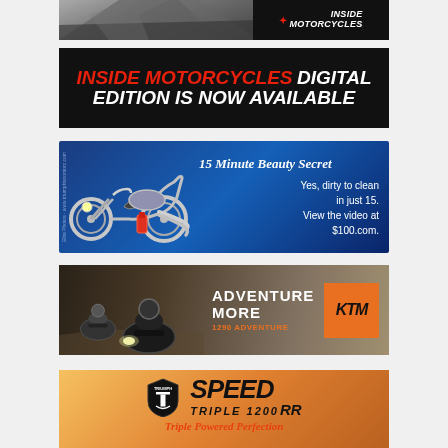[Figure (illustration): Inside Motorcycles banner ad showing a road scene with the Inside Motorcycles logo]
[Figure (illustration): Inside Motorcycles Digital Edition Is Now Available - black background ad with red and white bold italic text]
[Figure (illustration): 15 Minute Beauty Secret ad - blue background with chrome motorcycle, text: Yes, dirty to clean in just 15. View the video at $100.com.]
[Figure (illustration): KTM Adventure More ad - riders on dirt road, orange KTM logo box, text: ADVENTURE MORE, 1290 ADVENTURE]
[Figure (illustration): Triumph Speed Triple 1200 RR ad - warm sunset gradient, Triumph logo, Speed Triple 1200 RR branding, tagline: Triple Powered Perfection]